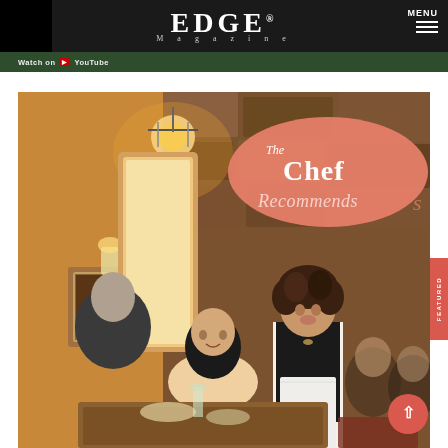EDGE Magazine
Watch on YouTube
[Figure (photo): Restaurant scene showing a waitress in a black top and white apron serving two women diners at a candlelit table inside a rustic stone-walled restaurant. An oval salmon/coral pink badge reads 'The Chef Recommends'.]